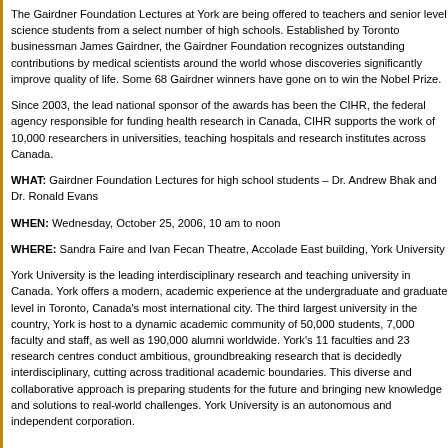The Gairdner Foundation Lectures at York are being offered to teachers and senior level science students from a select number of high schools. Established by Toronto businessman James Gairdner, the Gairdner Foundation recognizes outstanding contributions by medical scientists around the world whose discoveries significantly improve quality of life. Some 68 Gairdner winners have gone on to win the Nobel Prize.
Since 2003, the lead national sponsor of the awards has been the CIHR, the federal agency responsible for funding health research in Canada, CIHR supports the work of 10,000 researchers in universities, teaching hospitals and research institutes across Canada.
WHAT: Gairdner Foundation Lectures for high school students – Dr. Andrew Bhak and Dr. Ronald Evans
WHEN: Wednesday, October 25, 2006, 10 am to noon
WHERE: Sandra Faire and Ivan Fecan Theatre, Accolade East building, York University
York University is the leading interdisciplinary research and teaching university in Canada. York offers a modern, academic experience at the undergraduate and graduate level in Toronto, Canada's most international city. The third largest university in the country, York is host to a dynamic academic community of 50,000 students, 7,000 faculty and staff, as well as 190,000 alumni worldwide. York's 11 faculties and 23 research centres conduct ambitious, groundbreaking research that is decidedly interdisciplinary, cutting across traditional academic boundaries. This diverse and collaborative approach is preparing students for the future and bringing new knowledge and solutions to real-world challenges. York University is an autonomous and independent corporation.